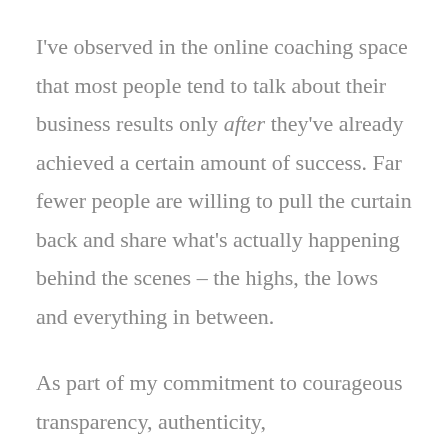I've observed in the online coaching space that most people tend to talk about their business results only after they've already achieved a certain amount of success. Far fewer people are willing to pull the curtain back and share what's actually happening behind the scenes – the highs, the lows and everything in between.
As part of my commitment to courageous transparency, authenticity,